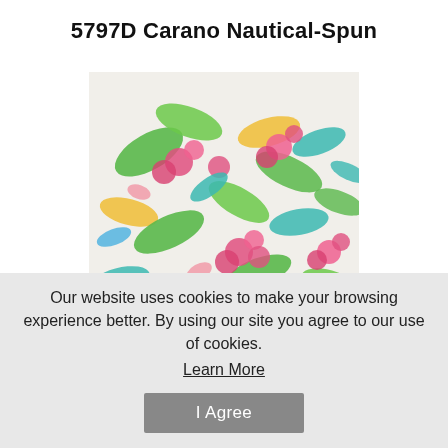5797D Carano Nautical-Spun
[Figure (photo): Close-up photo of a colorful floral fabric pattern with pink, green, teal/blue, and yellow leaves and flowers on a white background, in a painterly style.]
Our website uses cookies to make your browsing experience better. By using our site you agree to our use of cookies.
Learn More
I Agree